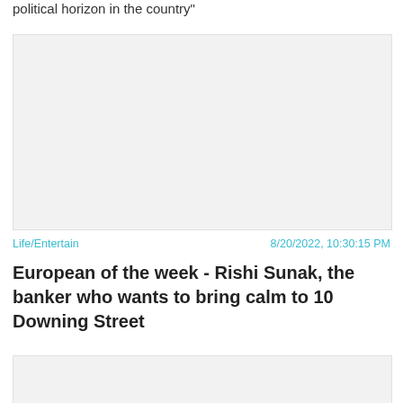political horizon in the country"
[Figure (photo): Large placeholder image block (light grey)]
Life/Entertain
8/20/2022, 10:30:15 PM
European of the week - Rishi Sunak, the banker who wants to bring calm to 10 Downing Street
[Figure (photo): Partial placeholder image block at bottom (light grey)]